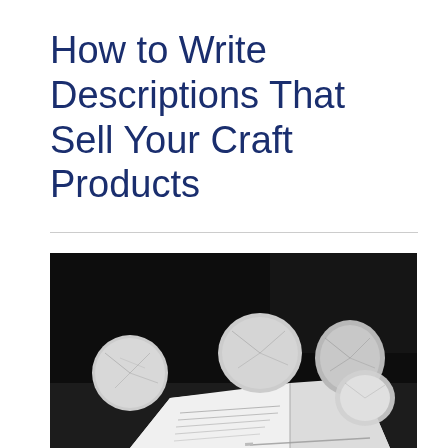How to Write Descriptions That Sell Your Craft Products
[Figure (photo): Black and white photograph of an open notebook with handwritten text and several crumpled balls of paper scattered around it on a dark surface.]